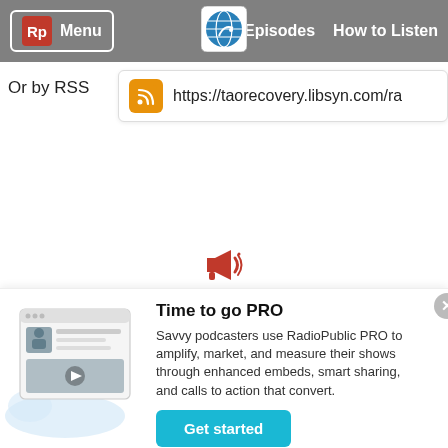[Figure (screenshot): RadioPublic navigation bar with Rp logo, Menu button, globe podcast logo in center, Episodes and How to Listen links]
Or by RSS
https://taorecovery.libsyn.com/ra
[Figure (illustration): Megaphone / loudspeaker emoji icon in red]
Promoted Podcasts
[Figure (illustration): RadioPublic PRO promotional illustration showing a podcast page mockup with play button]
Time to go PRO
Savvy podcasters use RadioPublic PRO to amplify, market, and measure their shows through enhanced embeds, smart sharing, and calls to action that convert.
Get started